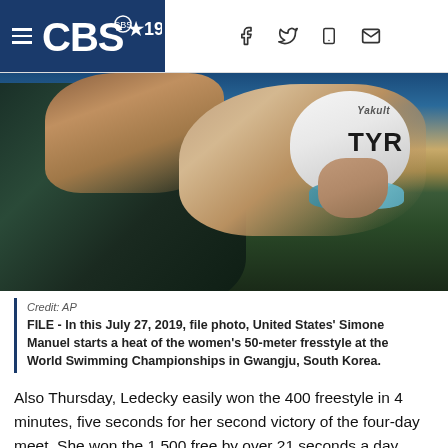CBS 19
[Figure (photo): A swimmer, United States' Simone Manuel, bending forward at the start block, wearing a white TYR cap with 'Yakult' logo and blue mirrored goggles, preparing to dive at a swimming competition.]
Credit: AP
FILE - In this July 27, 2019, file photo, United States' Simone Manuel starts a heat of the women's 50-meter fresstyle at the World Swimming Championships in Gwangju, South Korea.
Also Thursday, Ledecky easily won the 400 freestyle in 4 minutes, five seconds for her second victory of the four-day meet. She won the 1,500 free by over 21 seconds a day earlier.